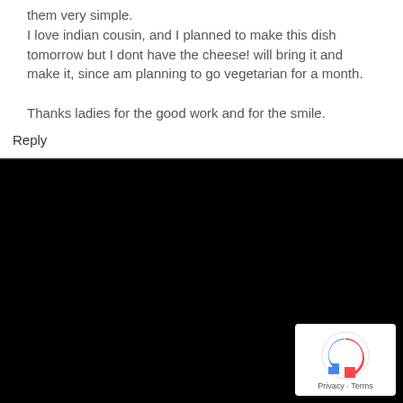them very simple.
I love indian cousин, and I planned to make this dish tomorrow but I dont have the cheese! will bring it and make it, since am planning to go vegetarian for a month.

Thanks ladies for the good work and for the smile.
Reply
[Figure (logo): reCAPTCHA logo with circular arrow icon and Privacy - Terms text]